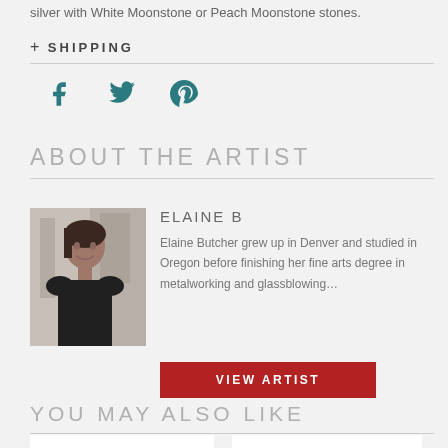silver with White Moonstone or Peach Moonstone stones.
+ SHIPPING
[Figure (infographic): Social share icons: Facebook, Twitter, Pinterest in teal color]
ABOUT THE ARTIST
[Figure (photo): Portrait photo of Elaine B, a woman with dark hair smiling, in an urban outdoor setting]
ELAINE B
Elaine Butcher grew up in Denver and studied in Oregon before finishing her fine arts degree in metalworking and glassblowing…
VIEW ARTIST
YOU MAY ALSO LIKE